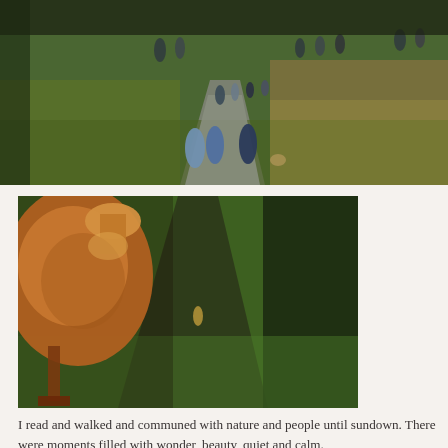[Figure (photo): People walking along a paved path through green meadow grasses at golden hour. Multiple people visible in middle and far distance walking toward camera.]
[Figure (photo): Close-up of a wooden horse saddle on the left, with a green field and narrow path visible in the background on the right side.]
I read and walked and communed with nature and people until sundown. There were moments filled with wonder, beauty, quiet and calm.
[Figure (photo): Partial view of another outdoor photo at the bottom of the page, cut off.]